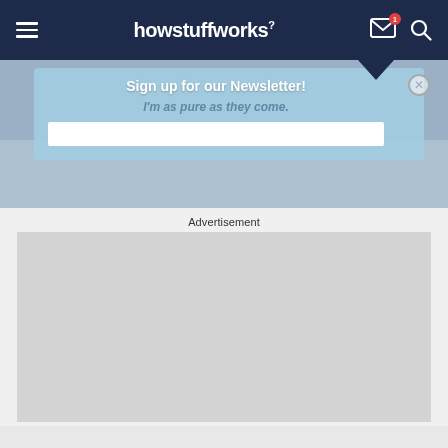howstuffworks
Sign up for our Newsletter!
I'm as pure as they come.
Advertisement
[Figure (other): Gray advertisement placeholder rectangle]